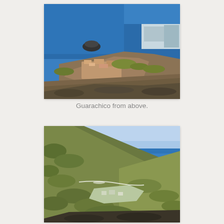[Figure (photo): Aerial view of Guarachico coastal town from above, showing rocky cliffs, blue ocean, a small island offshore, and a harbor/port area in the background. Dry rocky terrain in foreground.]
Guarachico from above.
[Figure (photo): Aerial coastal landscape view showing steep green hillsides descending to a rocky coastline with blue ocean and a small settlement visible in the valley below.]